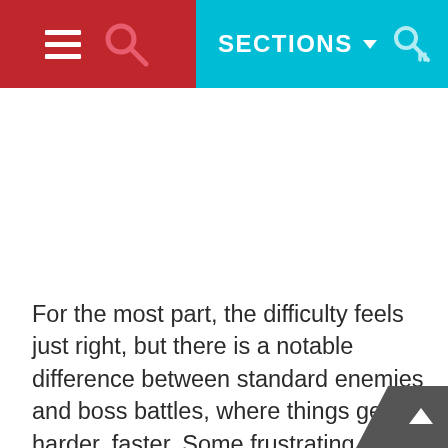☰  🔍  SECTIONS ▾  🔑
For the most part, the difficulty feels just right, but there is a notable difference between standard enemies and boss battles, where things get harder, faster. Some frustrating moments arise out of the fact that enemies can attack you while you're filtering through menus to select your next course of action. There is an option to stop enemies from attacking